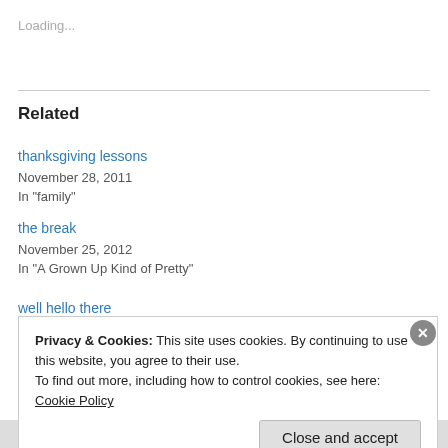Loading...
Related
thanksgiving lessons
November 28, 2011
In "family"
the break
November 25, 2012
In "A Grown Up Kind of Pretty"
well hello there
Privacy & Cookies: This site uses cookies. By continuing to use this website, you agree to their use.
To find out more, including how to control cookies, see here: Cookie Policy
Close and accept